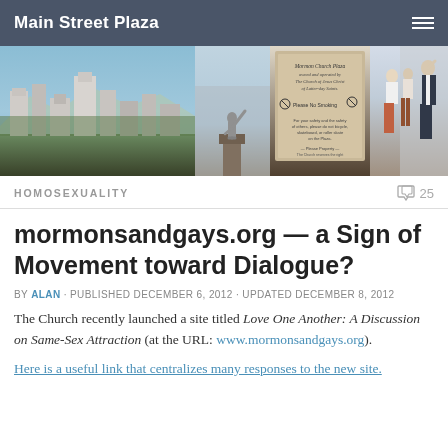Main Street Plaza
[Figure (photo): Photo banner with four images: city skyline with mountains, statue pointing, plaza sign board, people walking]
HOMOSEXUALITY    25
mormonsandgays.org — a Sign of Movement toward Dialogue?
BY ALAN · PUBLISHED DECEMBER 6, 2012 · UPDATED DECEMBER 8, 2012
The Church recently launched a site titled Love One Another: A Discussion on Same-Sex Attraction (at the URL: www.mormonsandgays.org).
Here is a useful link that centralizes many responses to the new site.